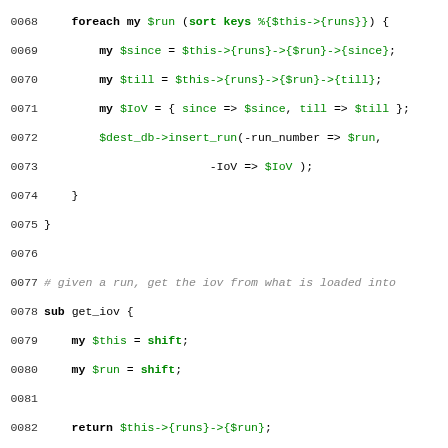[Figure (screenshot): Perl source code snippet showing lines 0068-0097, with syntax highlighting: keywords in bold black, variables/identifiers in green, string literals in red, comments in italic gray. Lines include foreach loop, get_iov subroutine, get_dummy_iov subroutine, and start of dump_iov subroutine.]